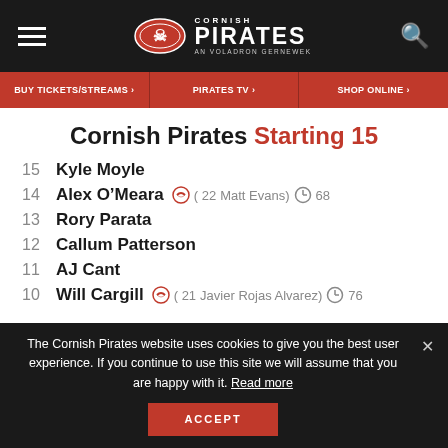Cornish Pirates - AN VOLADRON GERNEWEK
Cornish Pirates Starting 15
15  Kyle Moyle
14  Alex O'Meara  ( 22  Matt Evans)  68
13  Rory Parata
12  Callum Patterson
11  AJ Cant
10  Will Cargill  ( 21  Javier Rojas Alvarez)  76
The Cornish Pirates website uses cookies to give you the best user experience. If you continue to use this site we will assume that you are happy with it. Read more